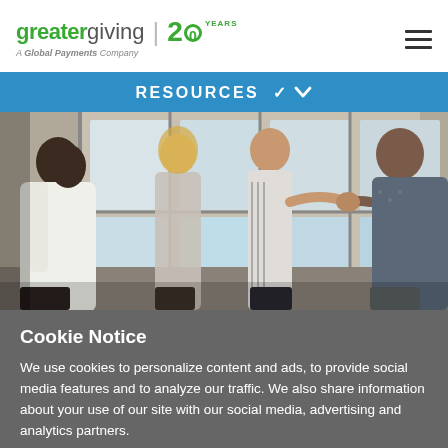greatergiving | 20 YEARS — A Global Payments Company
RESOURCES ∨
[Figure (photo): Group of diverse business people shaking hands and networking in a bright room with large windows]
Cookie Notice
We use cookies to personalize content and ads, to provide social media features and to analyze our traffic. We also share information about your use of our site with our social media, advertising and analytics partners.